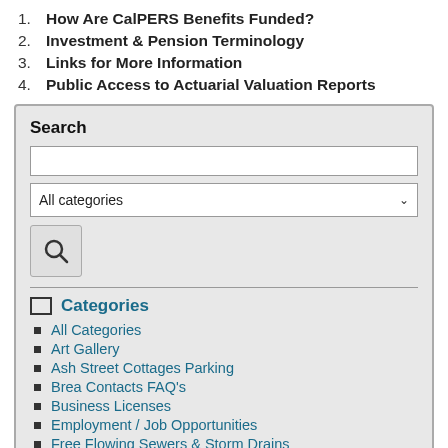1. How Are CalPERS Benefits Funded?
2. Investment & Pension Terminology
3. Links for More Information
4. Public Access to Actuarial Valuation Reports
[Figure (screenshot): Search widget with text input, All categories dropdown, search button, horizontal divider, Categories section with folder icon and list of category links: All Categories, Art Gallery, Ash Street Cottages Parking, Brea Contacts FAQ's, Business Licenses, Employment / Job Opportunities, Free Flowing Sewers & Storm Drains]